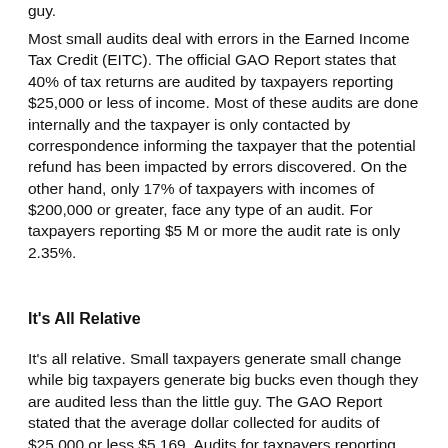guy.
Most small audits deal with errors in the Earned Income Tax Credit (EITC). The official GAO Report states that 40% of tax returns are audited by taxpayers reporting $25,000 or less of income. Most of these audits are done internally and the taxpayer is only contacted by correspondence informing the taxpayer that the potential refund has been impacted by errors discovered. On the other hand, only 17% of taxpayers with incomes of $200,000 or greater, face any type of an audit. For taxpayers reporting $5 M or more the audit rate is only 2.35%.
It's All Relative
It's all relative. Small taxpayers generate small change while big taxpayers generate big bucks even though they are audited less than the little guy. The GAO Report stated that the average dollar collected for audits of $25,000 or less $5,169. Audits for taxpayers reporting $200,000 or more average